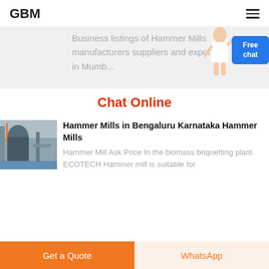GBM
Business listings of Hammer Mills manufacturers suppliers and exporters in Mumb...
Chat Online
[Figure (photo): Industrial hammer mill machinery in a factory setting]
Hammer Mills in Bengaluru Karnataka Hammer Mills
Hammer Mill Ask Price In the biomass briquetting plant ECOTECH Hammer mill is suitable for
Get a Quote
WhatsApp